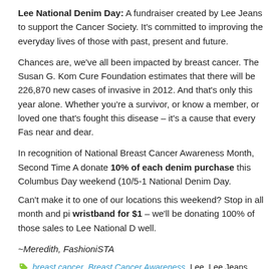Lee National Denim Day: A fundraiser created by Lee Jeans to support the Cancer Society. It's committed to improving the everyday lives of those with past, present and future.
Chances are, we've all been impacted by breast cancer. The Susan G. Kom Cure Foundation estimates that there will be 226,870 new cases of invasive in 2012. And that's only this year alone. Whether you're a survivor, or know a member, or loved one that's fought this disease – it's a cause that every Fas near and dear.
In recognition of National Breast Cancer Awareness Month, Second Time Ar donate 10% of each denim purchase this Columbus Day weekend (10/5-1 National Denim Day.
Can't make it to one of our locations this weekend? Stop in all month and pi wristband for $1 – we'll be donating 100% of those sales to Lee National D well.
~Meredith, FashioniSTA
breast cancer, Breast Cancer Awareness, Lee, Lee Jeans, October, pink Around, STA, wristbands
Columbus Day Weekend Means an STA S